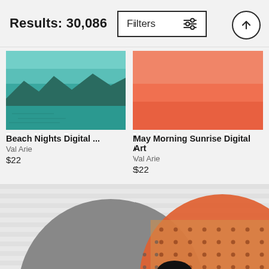Results: 30,086
Filters
[Figure (screenshot): Beach Nights digital art thumbnail showing a teal/turquoise landscape with mountain silhouettes]
[Figure (screenshot): May Morning Sunrise Digital Art thumbnail showing an orange/coral gradient background]
Beach Nights Digital ...
Val Arie
$22
May Morning Sunrise Digital Art
Val Arie
$22
[Figure (illustration): Abstract geometric art featuring a large grey circle with a cut-out section, overlapping with an orange/rust circle on a light grey striped background, with a dotted grid pattern in the overlap area and a small black ellipse at bottom]